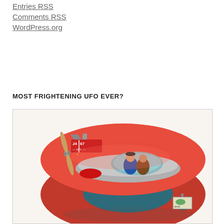Entries RSS
Comments RSS
WordPress.org
MOST FRIGHTENING UFO EVER?
[Figure (illustration): Retro illustration of a red circular-wing aircraft labeled J4167 N.Y. with two pilots visible in the cockpit and a propeller at the front, shown against a white background.]